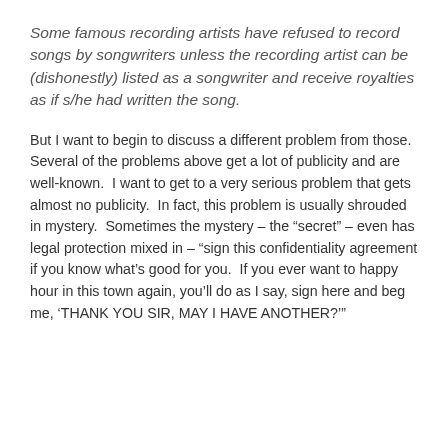Some famous recording artists have refused to record songs by songwriters unless the recording artist can be (dishonestly) listed as a songwriter and receive royalties as if s/he had written the song.
But I want to begin to discuss a different problem from those.  Several of the problems above get a lot of publicity and are well-known.  I want to get to a very serious problem that gets almost no publicity.  In fact, this problem is usually shrouded in mystery.  Sometimes the mystery – the “secret” – even has legal protection mixed in – “sign this confidentiality agreement if you know what’s good for you.  If you ever want to happy hour in this town again, you’ll do as I say, sign here and beg me, ‘THANK YOU SIR, MAY I HAVE ANOTHER?’”